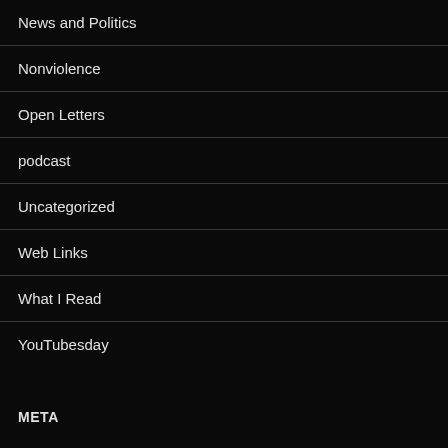News and Politics
Nonviolence
Open Letters
podcast
Uncategorized
Web Links
What I Read
YouTubesday
META
Log in
Entries feed